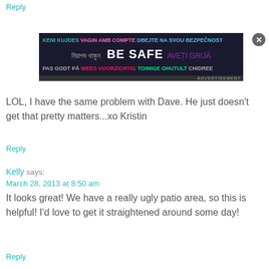Reply
[Figure (screenshot): Advertisement banner: BE SAFE multilingual safety message]
LOL, I have the same problem with Dave. He just doesn't get that pretty matters...xo Kristin
Reply
Kelly says:
March 28, 2013 at 8:50 am
It looks great! We have a really ugly patio area, so this is helpful! I'd love to get it straightened around some day!
Reply